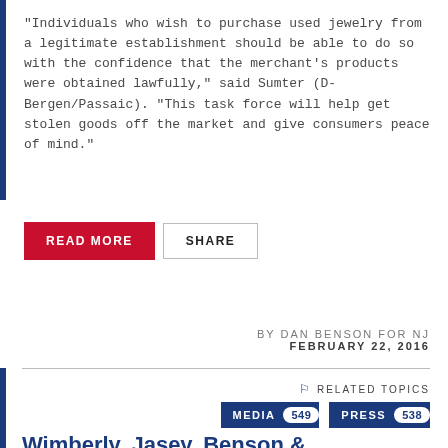"Individuals who wish to purchase used jewelry from a legitimate establishment should be able to do so with the confidence that the merchant's products were obtained lawfully," said Sumter (D-Bergen/Passaic). "This task force will help get stolen goods off the market and give consumers peace of mind."
READ MORE   SHARE
BY DAN BENSON FOR NJ
FEBRUARY 22, 2016
RELATED TOPICS
MEDIA 549   PRESS 538
Wimberly, Jasey, Benson & Moriarty 'Reader Privacy Act' To Upgrade NJ Book Privacy Laws